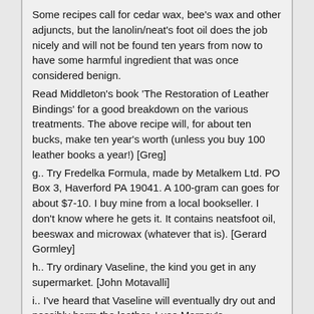Some recipes call for cedar wax, bee's wax and other adjuncts, but the lanolin/neat's foot oil does the job nicely and will not be found ten years from now to have some harmful ingredient that was once considered benign.
Read Middleton's book 'The Restoration of Leather Bindings' for a good breakdown on the various treatments. The above recipe will, for about ten bucks, make ten year's worth (unless you buy 100 leather books a year!) [Greg]
g.. Try Fredelka Formula, made by Metalkem Ltd. PO Box 3, Haverford PA 19041. A 100-gram can goes for about $7-10. I buy mine from a local bookseller. I don't know where he gets it. It contains neatsfoot oil, beeswax and microwax (whatever that is). [Gerard Gormley]
h.. Try ordinary Vaseline, the kind you get in any supermarket. [John Motavalli]
i.. I've heard that Vaseline will eventually dry out and possibly harm the leather. I use Marney's conservation leather dressing. Got a bottle a few years back from a book binder. It works good and lasts forever. Bet it's available on the net. [William Strawbridge]
p.. 4.16 Can I Fix A Cocked Or Slanted Spine?